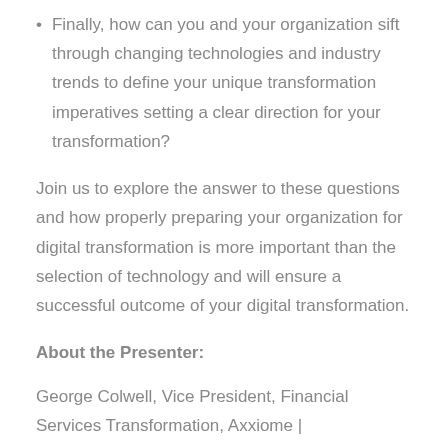Finally, how can you and your organization sift through changing technologies and industry trends to define your unique transformation imperatives setting a clear direction for your transformation?
Join us to explore the answer to these questions and how properly preparing your organization for digital transformation is more important than the selection of technology and will ensure a successful outcome of your digital transformation.
About the Presenter:
George Colwell, Vice President, Financial Services Transformation, Axxiome | george.colwell@axxiome.com